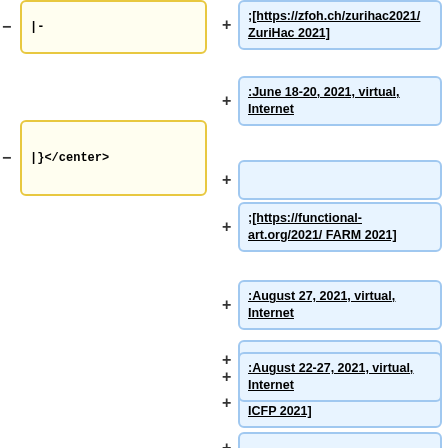|-
|}</center>
;[https://zfoh.ch/zurihac2021/ ZuriHac 2021]
:June 18-20, 2021, virtual, Internet
(empty plus row)
;[https://functional-art.org/2021/ FARM 2021]
:August 27, 2021, virtual, Internet
(empty plus row)
;[https://icfp21.sigplan.org ICFP 2021]
:August 22-27, 2021, virtual, Internet
(empty plus row)